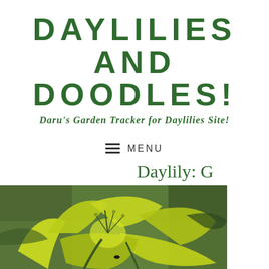DAYLILIES AND DOODLES!
Daru's Garden Tracker for Daylilies Site!
≡ MENU
Daylily: G
[Figure (photo): Close-up photograph of a yellow-green daylily flower with curling petals and stamens, against a blurred green background]